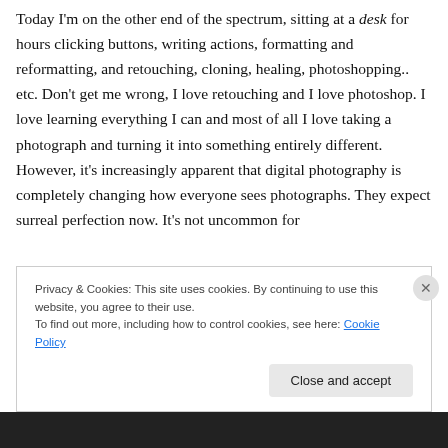Today I'm on the other end of the spectrum, sitting at a desk for hours clicking buttons, writing actions, formatting and reformatting, and retouching, cloning, healing, photoshopping.. etc. Don't get me wrong, I love retouching and I love photoshop. I love learning everything I can and most of all I love taking a photograph and turning it into something entirely different. However, it's increasingly apparent that digital photography is completely changing how everyone sees photographs. They expect surreal perfection now. It's not uncommon for
Privacy & Cookies: This site uses cookies. By continuing to use this website, you agree to their use.
To find out more, including how to control cookies, see here: Cookie Policy